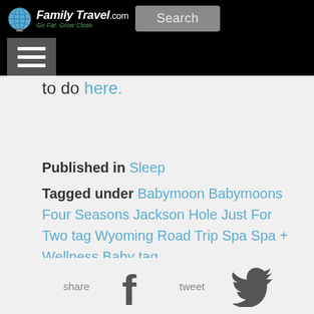FamilyTravel.com — Go Far. Grow Close. | Search
to do here.
Published in  Sleep
Tagged under  Babymoon  Babymoons  Four Seasons Jackson Hole  Just For Two tag  Wyoming  Road Trip  Spa  Spa + Wellness  Baby tag
[Figure (screenshot): Share on Facebook (f icon) and Tweet (Twitter bird icon) social share buttons with labels 'share' and 'tweet']